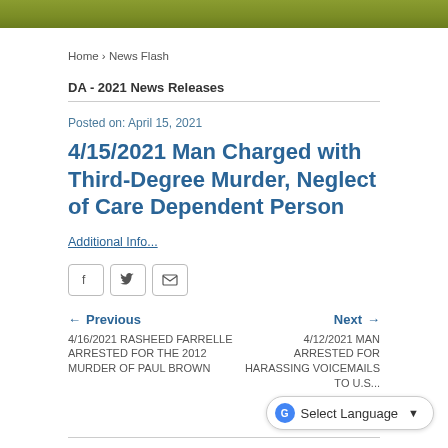Home › News Flash
DA - 2021 News Releases
Posted on: April 15, 2021
4/15/2021 Man Charged with Third-Degree Murder, Neglect of Care Dependent Person
Additional Info...
← Previous
4/16/2021 RASHEED FARRELLE ARRESTED FOR THE 2012 MURDER OF PAUL BROWN
Next →
4/12/2021 MAN ARRESTED FOR HARASSING VOICEMAILS TO U.S...